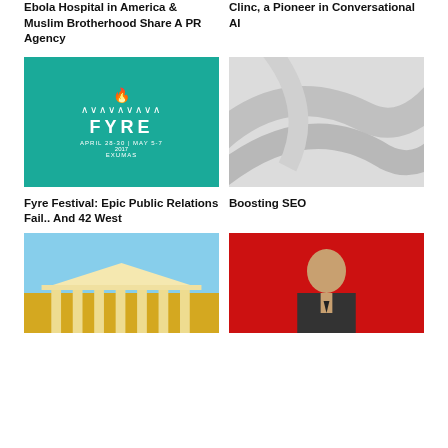Ebola Hospital in America & Muslim Brotherhood Share A PR Agency
Clinc, a Pioneer in Conversational AI
[Figure (photo): Aerial view of ocean with turquoise water and a small boat, overlaid with Fyre Festival branding text: flame icon, wave symbols, FYRE, APRIL 28-30 | MAY 5-7, 2017, EXUMAS]
[Figure (photo): Abstract gray swooping diagonal shapes on light gray background]
Fyre Festival: Epic Public Relations Fail.. And 42 West
Boosting SEO
[Figure (photo): Photograph of a white-columned courthouse or government building with blue sky background and yellow/golden lit columns]
[Figure (photo): Photograph of a man in a suit speaking in front of a red background]